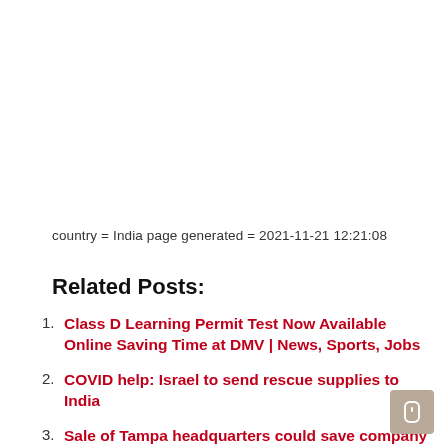country = India page generated = 2021-11-21 12:21:08
Related Posts:
Class D Learning Permit Test Now Available Online Saving Time at DMV | News, Sports, Jobs
COVID help: Israel to send rescue supplies to India
Sale of Tampa headquarters could save company $ 2 million a year
Santa Barbara cops and dispatcher save man's life after drug overdose